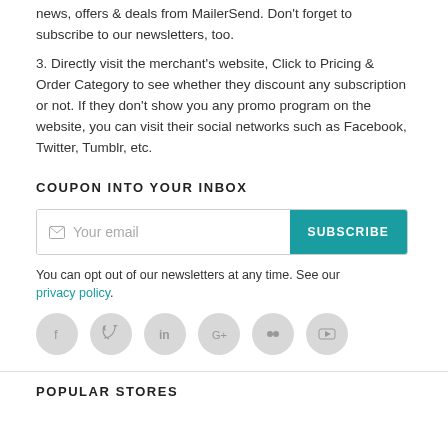news, offers & deals from MailerSend. Don't forget to subscribe to our newsletters, too.
3. Directly visit the merchant's website, Click to Pricing & Order Category to see whether they discount any subscription or not. If they don't show you any promo program on the website, you can visit their social networks such as Facebook, Twitter, Tumblr, etc.
COUPON INTO YOUR INBOX
[Figure (other): Email subscription form with input field placeholder 'Your email' and a teal SUBSCRIBE button]
You can opt out of our newsletters at any time. See our privacy policy.
[Figure (other): Row of 6 circular social media icon buttons (Facebook, Twitter, LinkedIn, Google+, Flickr, YouTube) in light gray]
POPULAR STORES